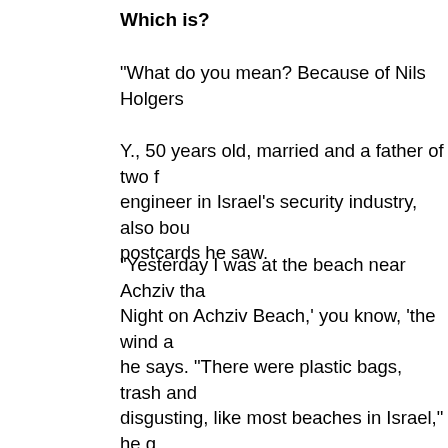Which is?
"What do you mean? Because of Nils Holgers
Y., 50 years old, married and a father of two f engineer in Israel's security industry, also bou postcards he saw.
"Yesterday I was at the beach near Achziv tha Night on Achziv Beach,' you know, 'the wind a he says. "There were plastic bags, trash and disgusting, like most beaches in Israel," he g a hidden gem. I kayak as a hobby and I conv winter on the island in Finland."
That's quite a challenge.
"Yes. A bit of real nature, pure, the kind we fo
The four entrepreneurs, who plan on building admit that they are the ones most surprised b received.
"Truthfully? This is mad," Weil jokes. "Let's be a country that's not a big tourist destination, f thing you can do. We thought we'd be able to that doesn't work, we'll try to sell some abroa friends and these cabins are being snatched